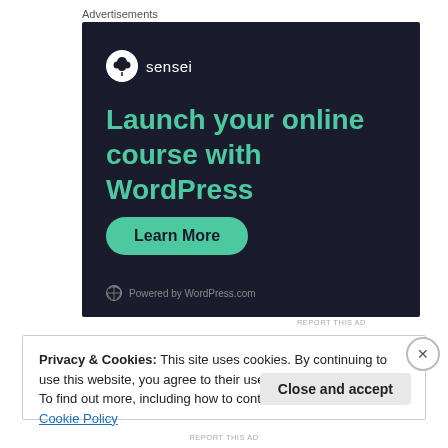Advertisements
[Figure (illustration): Sensei advertisement on dark background. Logo with bonsai tree icon and 'sensei' text. Headline: 'Launch your online course with WordPress'. Teal 'Learn More' button. 'Powered by WordPress.com' footer.]
REPORT THIS AD
Privacy & Cookies: This site uses cookies. By continuing to use this website, you agree to their use.
To find out more, including how to control cookies, see here: Cookie Policy
Close and accept